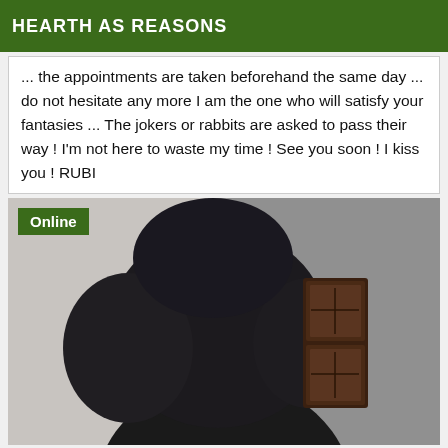HEARTH AS REASONS
... the appointments are taken beforehand the same day ... do not hesitate any more I am the one who will satisfy your fantasies ... The jokers or rabbits are asked to pass their way ! I'm not here to waste my time ! See you soon ! I kiss you ! RUBI
[Figure (photo): Photo of a person with curly black hair, partially obscured, next to a door or wall. An 'Online' badge is overlaid in the top-left corner.]